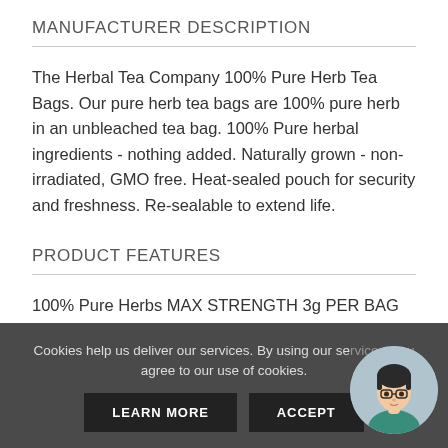MANUFACTURER DESCRIPTION
The Herbal Tea Company 100% Pure Herb Tea Bags. Our pure herb tea bags are 100% pure herb in an unbleached tea bag. 100% Pure herbal ingredients - nothing added. Naturally grown - non-irradiated, GMO free. Heat-sealed pouch for security and freshness. Re-sealable to extend life.
PRODUCT FEATURES
100% Pure Herbs MAX STRENGTH 3g PER BAG Unbleached Tea Bag Material All Tea Bags Made By Hand
Cookies help us deliver our services. By using our services, you agree to our use of cookies.